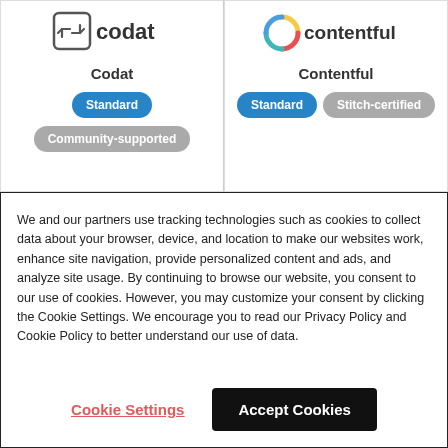[Figure (logo): Codat logo — icon with arrows and text 'codat']
Codat
Standard
Community-supported
[Figure (logo): Contentful logo — colorful C icon and text 'contentful']
Contentful
Standard
Stitch-certified
We and our partners use tracking technologies such as cookies to collect data about your browser, device, and location to make our websites work, enhance site navigation, provide personalized content and ads, and analyze site usage. By continuing to browse our website, you consent to our use of cookies. However, you may customize your consent by clicking the Cookie Settings. We encourage you to read our Privacy Policy and Cookie Policy to better understand our use of data.
Cookie Settings
Accept Cookies